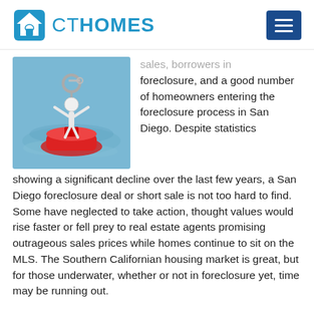CT HOMES
[Figure (photo): A small white figure holding onto a key chain ring, floating on a red object on water, symbolizing a homeowner struggling financially.]
sales, borrowers in foreclosure, and a good number of homeowners entering the foreclosure process in San Diego. Despite statistics showing a significant decline over the last few years, a San Diego foreclosure deal or short sale is not too hard to find. Some have neglected to take action, thought values would rise faster or fell prey to real estate agents promising outrageous sales prices while homes continue to sit on the MLS. The Southern Californian housing market is great, but for those underwater, whether or not in foreclosure yet, time may be running out.